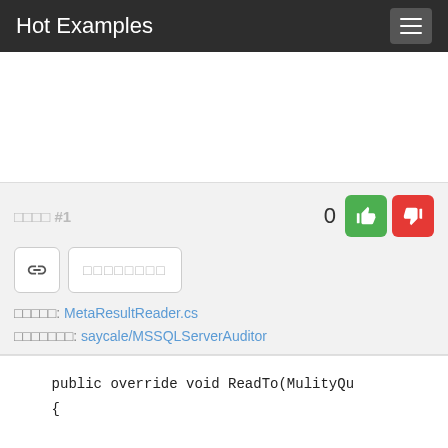Hot Examples
□□□□ #1   0
□□□□□: MetaResultReader.cs
□□□□□□□: saycale/MSSQLServerAuditor
public override void ReadTo(MultiQu
{